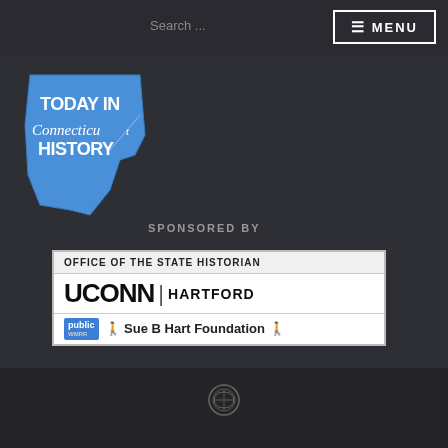Search ...
[Figure (logo): Today in Connecticut History logo with Connecticut state shape in blue]
SPONSORED BY
[Figure (logo): Sponsor box containing: OFFICE OF THE STATE HISTORIAN, UCONN HARTFORD, public WMRR, Sue B Hart Foundation logos]
[Figure (logo): WordPress icon in footer]
≡ MENU